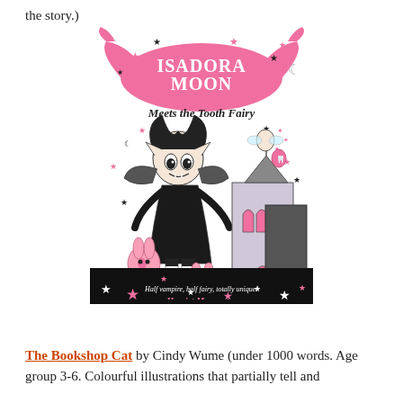the story.)
[Figure (illustration): Book cover of 'Isadora Moon Meets the Tooth Fairy' by Harriet Muncaster. Features a gothic-style girl with bat wings and pointed ears in a black dress, standing next to a spooky house. Pink bat logo at top reads 'Isadora Moon'. Stars and a crescent moon decorate the cover. Bottom text reads 'Half vampire, half fairy, totally unique!' and 'Harriet Muncaster' in pink.]
The Bookshop Cat by Cindy Wume (under 1000 words. Age group 3-6. Colourful illustrations that partially tell and